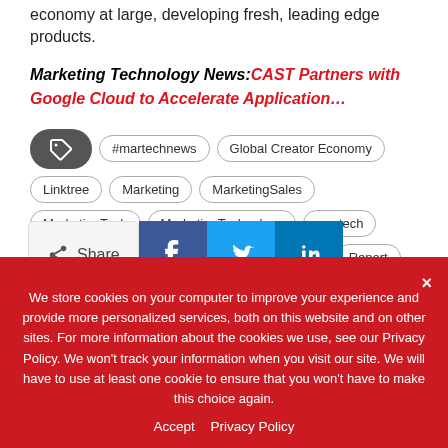economy at large, developing fresh, leading edge products.
Marketing Technology News: CAST Partners with Google Cloud to Accelerate Application…
#martechnews
Global Creator Economy
Linktree
Marketing
MarketingSales
MarketingTech
MarketingTechnology
martech
MarTech Series
MartechSeries
News
Report
salesandmarekting
tech
TechNews
Share
We store cookies on your computer to improve your experience and provide more personalized services, both on this website and on other sites. For more information about the cookies we use, see our Privacy Policy. We won't track your information when you visit our site. We will have to use at least one cookie to ensure that you won't have to make this choice again.
Accept   Privacy Policy